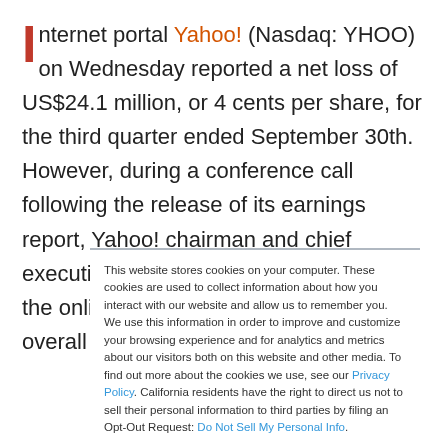Internet portal Yahoo! (Nasdaq: YHOO) on Wednesday reported a net loss of US$24.1 million, or 4 cents per share, for the third quarter ended September 30th. However, during a conference call following the release of its earnings report, Yahoo! chairman and chief executive officer Terry Semel said that the online giant will rebound once the overall economy
This website stores cookies on your computer. These cookies are used to collect information about how you interact with our website and allow us to remember you. We use this information in order to improve and customize your browsing experience and for analytics and metrics about our visitors both on this website and other media. To find out more about the cookies we use, see our Privacy Policy. California residents have the right to direct us not to sell their personal information to third parties by filing an Opt-Out Request: Do Not Sell My Personal Info.